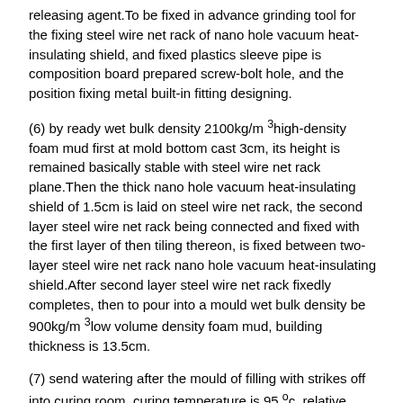releasing agent. To be fixed in advance grinding tool for the fixing steel wire net rack of nano hole vacuum heat-insulating shield, and fixed plastics sleeve pipe is composition board prepared screw-bolt hole, and the position fixing metal built-in fitting designing.
(6) by ready wet bulk density 2100kg/m 3high-density foam mud first at mold bottom cast 3cm, its height is remained basically stable with steel wire net rack plane. Then the thick nano hole vacuum heat-insulating shield of 1.5cm is laid on steel wire net rack, the second layer steel wire net rack being connected and fixed with the first layer of then tiling thereon, is fixed between two-layer steel wire net rack nano hole vacuum heat-insulating shield. After second layer steel wire net rack fixedly completes, then to pour into a mould wet bulk density be 900kg/m 3low volume density foam mud, building thickness is 13.5cm.
(7) send watering after the mould of filling with strikes off into curing room, curing temperature is 95 °c, relative humidity is 90%, curing time is 8 hours.